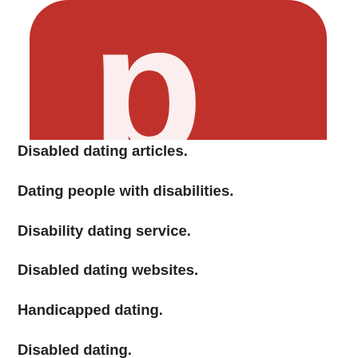[Figure (logo): Red rounded-rectangle logo with a white letter 'p' in the center, cropped at the top — resembles a Pinterest-style app icon]
Disabled dating articles.
Dating people with disabilities.
Disability dating service.
Disabled dating websites.
Handicapped dating.
Disabled dating.